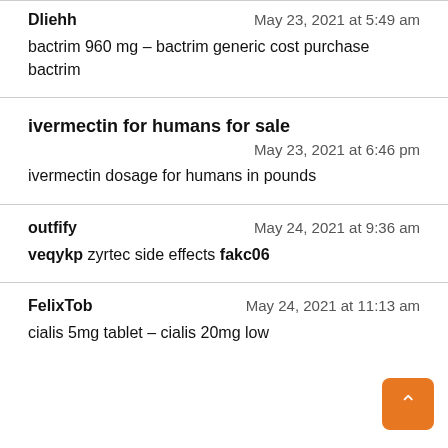Dliehh — May 23, 2021 at 5:49 am
bactrim 960 mg – bactrim generic cost purchase bactrim
ivermectin for humans for sale — May 23, 2021 at 6:46 pm
ivermectin dosage for humans in pounds
outfify — May 24, 2021 at 9:36 am
veqykp zyrtec side effects fakc06
FelixTob — May 24, 2021 at 11:13 am
cialis 5mg tablet – cialis 20mg low